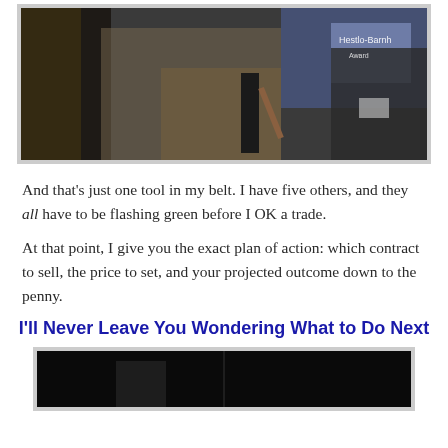[Figure (photo): Three people at an event, a woman on the left, a man in center holding something, another man on the right with a badge, with a presentation screen in background showing Hestlo-Barnh Award text]
And that's just one tool in my belt. I have five others, and they all have to be flashing green before I OK a trade.
At that point, I give you the exact plan of action: which contract to sell, the price to set, and your projected outcome down to the penny.
I'll Never Leave You Wondering What to Do Next
[Figure (photo): Dark photo, partially visible at bottom of page]